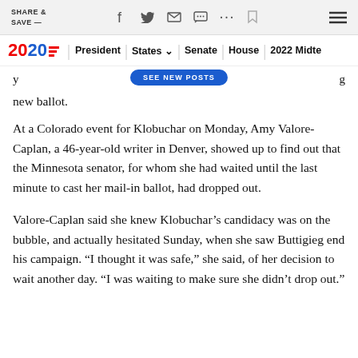SHARE & SAVE —
President | States | Senate | House | 2022 Midterms
new ballot.
At a Colorado event for Klobuchar on Monday, Amy Valore-Caplan, a 46-year-old writer in Denver, showed up to find out that the Minnesota senator, for whom she had waited until the last minute to cast her mail-in ballot, had dropped out.
Valore-Caplan said she knew Klobuchar’s candidacy was on the bubble, and actually hesitated Sunday, when she saw Buttigieg end his campaign. “I thought it was safe,” she said, of her decision to wait another day. “I was waiting to make sure she didn’t drop out.”